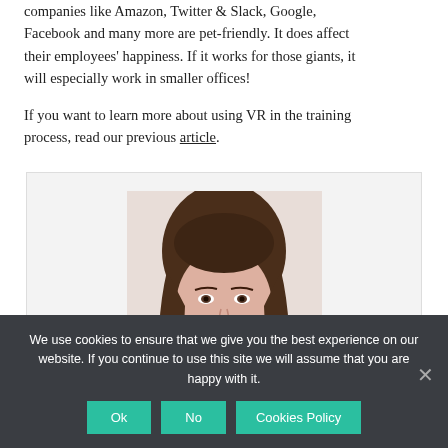companies like Amazon, Twitter & Slack, Google, Facebook and many more are pet-friendly. It does affect their employees' happiness. If it works for those giants, it will especially work in smaller offices!
If you want to learn more about using VR in the training process, read our previous article.
[Figure (photo): Photo of a young woman with long brown hair wearing a white top, against a light background. Displayed inside a light gray bordered author bio box.]
We use cookies to ensure that we give you the best experience on our website. If you continue to use this site we will assume that you are happy with it.